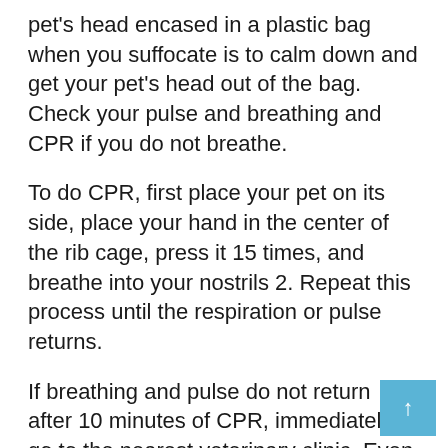pet's head encased in a plastic bag when you suffocate is to calm down and get your pet's head out of the bag. Check your pulse and breathing and CPR if you do not breathe.
To do CPR, first place your pet on its side, place your hand in the center of the rib cage, press it 15 times, and breathe into your nostrils 2. Repeat this process until the respiration or pulse returns.
If breathing and pulse do not return after 10 minutes of CPR, immediately go to the nearest veterinary clinic. Even if the breathing and pulse of the pet is back, I will take it to the vet because I may have to take further action. Oxygen deficiency can have a devastating effect on the health of your pet.
If you are careful with your caregiver, you may